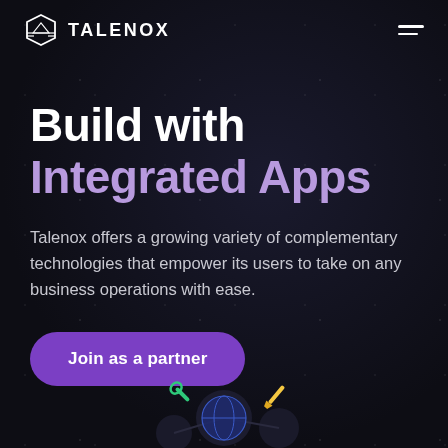TALENOX
Build with Integrated Apps
Talenox offers a growing variety of complementary technologies that empower its users to take on any business operations with ease.
Join as a partner
[Figure (illustration): Partial view of an illustrated graphic showing tools (wrench, screwdriver) and geometric network nodes at the bottom of the page, representing app integrations.]